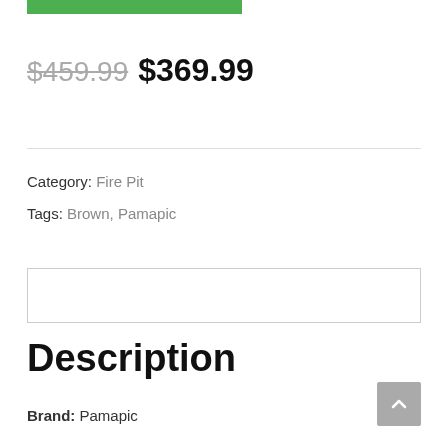[Figure (other): Green button/bar at top of page, partially visible]
$459.99 $369.99
Category: Fire Pit
Tags: Brown, Pamapic
[Figure (other): Empty tab/content box with border]
Description
Brand: Pamapic